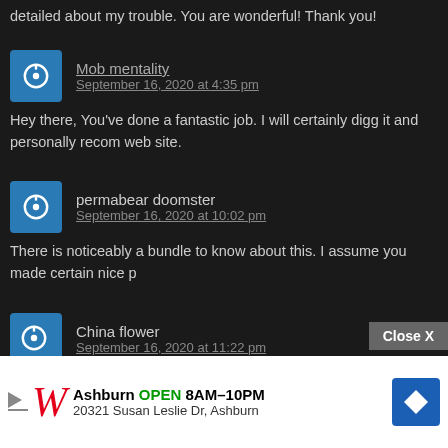detailed about my trouble. You are wonderful! Thank you!
Mob mentality
September 16, 2020 at 4:35 pm
Hey there, You've done a fantastic job. I will certainly digg it and personally recom web site.
permabear doomster
September 16, 2020 at 10:02 pm
There is noticeably a bundle to know about this. I assume you made certain nice p
China flower
September 16, 2020 at 11:22 pm
I was reading some of your posts on this internet site and I think this internet site i
[Figure (infographic): Walgreens advertisement banner: Ashburn OPEN 8AM-10PM, 20321 Susan Leslie Dr, Ashburn, with Close X button]